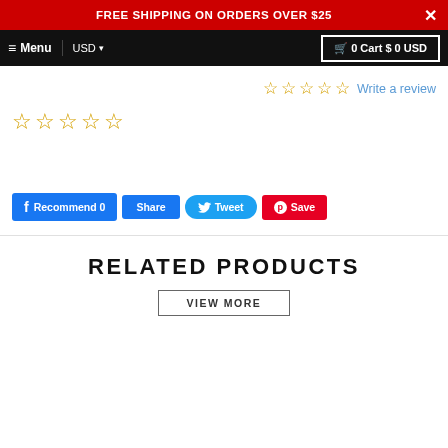FREE SHIPPING ON ORDERS OVER $25
Menu  USD  0 Cart $ 0 USD
☆☆☆☆☆ Write a review
☆☆☆☆☆
Recommend 0  Share  Tweet  Save
RELATED PRODUCTS
VIEW MORE